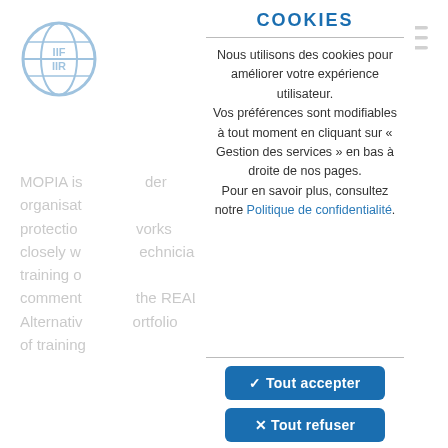[Figure (logo): IIF/IIR globe logo with blue circle and grid lines]
[Figure (other): Hamburger menu icon (three horizontal lines) in top right corner]
MOPIA is... der organisat... protection... works closely w... echnician training o... comment... the REAL Alternativ... ortfolio of training...
COOKIES
Nous utilisons des cookies pour améliorer votre expérience utilisateur. Vos préférences sont modifiables à tout moment en cliquant sur « Gestion des services » en bas à droite de nos pages. Pour en savoir plus, consultez notre Politique de confidentialité.
On behalf... Buoni, REAL Alt... joining the team... on and air condit... e more
✓ Tout accepter
✕ Tout refuser